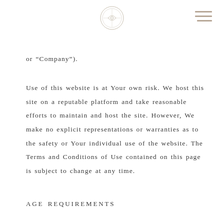[Figure (logo): Circular logo/seal watermark centered at top of page]
[Figure (other): Three horizontal hamburger menu lines in top right corner]
or “Company”).
Use of this website is at Your own risk. We host this site on a reputable platform and take reasonable efforts to maintain and host the site. However, We make no explicit representations or warranties as to the safety or Your individual use of the website. The Terms and Conditions of Use contained on this page is subject to change at any time.
AGE REQUIREMENTS